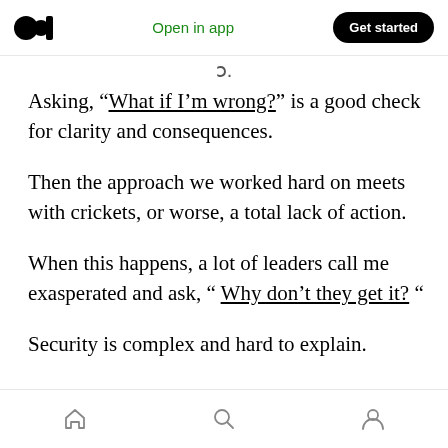Medium app header with logo, Open in app, Get started
Asking, “What if I’m wrong?” is a good check for clarity and consequences.
Then the approach we worked hard on meets with crickets, or worse, a total lack of action.
When this happens, a lot of leaders call me exasperated and ask, “ Why don’t they get it? “
Security is complex and hard to explain.
While business leaders know they need it, that
Bottom navigation bar with home, search, and profile icons